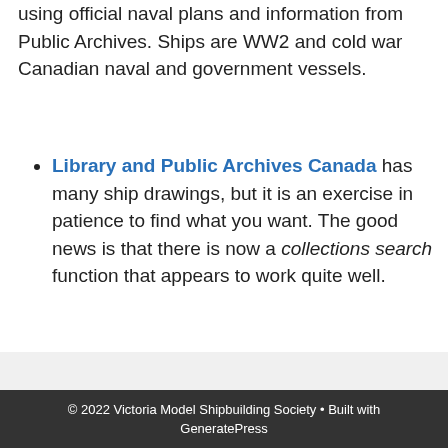using official naval plans and information from Public Archives. Ships are WW2 and cold war Canadian naval and government vessels.
Library and Public Archives Canada has many ship drawings, but it is an exercise in patience to find what you want. The good news is that there is now a collections search function that appears to work quite well.
© 2022 Victoria Model Shipbuilding Society • Built with GeneratePress